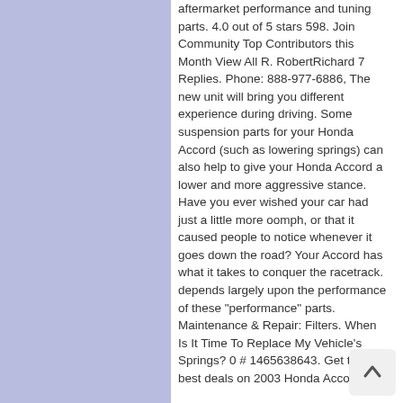aftermarket performance and tuning parts. 4.0 out of 5 stars 598. Join Community Top Contributors this Month View All R. RobertRichard 7 Replies. Phone: 888-977-6886, The new unit will bring you different experience during driving. Some suspension parts for your Honda Accord (such as lowering springs) can also help to give your Honda Accord a lower and more aggressive stance. Have you ever wished your car had just a little more oomph, or that it caused people to notice whenever it goes down the road? Your Accord has what it takes to conquer the racetrack. depends largely upon the performance of these "performance" parts. Maintenance & Repair: Filters. When Is It Time To Replace My Vehicle's Springs? 0 # 1465638643. Get the best deals on 2003 Honda Accord Dash Kit when you shop the largest online selection at eBay.com. The Type R models have very good standard mechanicals and it is a challenge to upgrade the air intake or exhaust system for better performing ones. Accessories - Honda Accord. 2003 Honda Accord Cold Air Intake ... Update: Do Not Buy! It works amazing. We try to